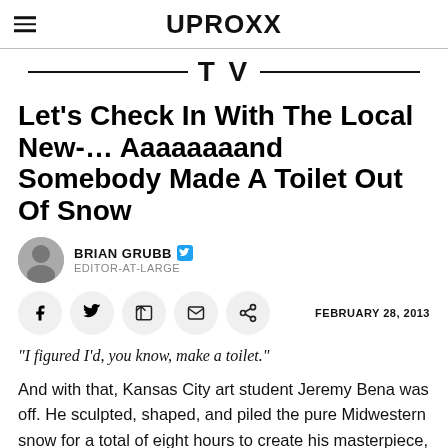UPROXX
TV
Let's Check In With The Local New-… Aaaaaaaand Somebody Made A Toilet Out Of Snow
BRIAN GRUBB  EDITOR-AT-LARGE
FEBRUARY 28, 2013
“I figured I’d, you know, make a toilet.”
And with that, Kansas City art student Jeremy Bena was off. He sculpted, shaped, and piled the pure Midwestern snow for a total of eight hours to create his masterpiece, and, sure enough, there it is. A snow